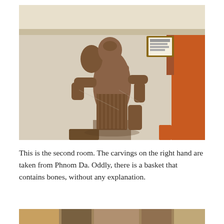[Figure (photo): A stone or terracotta statue displayed in a museum room. The statue depicts a standing figure with multiple arms, weathered and brownish in color. The background is a cream/beige wall with orange furniture visible on the right side and a framed label in the upper right.]
This is the second room. The carvings on the right hand are taken from Phnom Da. Oddly, there is a basket that contains bones, without any explanation.
[Figure (photo): Partial view of another museum room, cropped at bottom of page.]